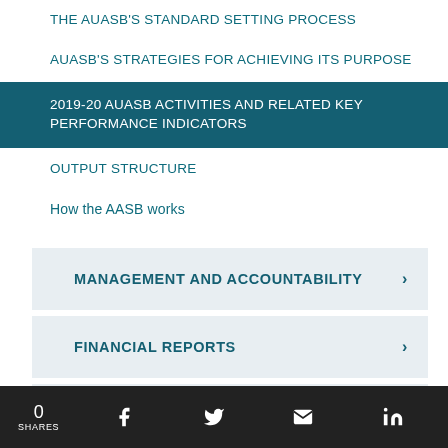THE AUASB's STANDARD SETTING PROCESS
AUASB'S STRATEGIES FOR ACHIEVING ITS PURPOSE
2019-20 AUASB ACTIVITIES AND RELATED KEY PERFORMANCE INDICATORS
OUTPUT STRUCTURE
How the AASB works
MANAGEMENT AND ACCOUNTABILITY
FINANCIAL REPORTS
Appendix A AASB and AUASB
0 SHARES